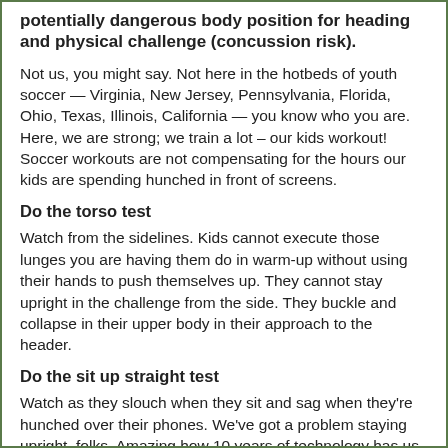potentially dangerous body position for heading and physical challenge (concussion risk).
Not us, you might say. Not here in the hotbeds of youth soccer — Virginia, New Jersey, Pennsylvania, Florida, Ohio, Texas, Illinois, California — you know who you are. Here, we are strong; we train a lot – our kids workout! Soccer workouts are not compensating for the hours our kids are spending hunched in front of screens.
Do the torso test
Watch from the sidelines. Kids cannot execute those lunges you are having them do in warm-up without using their hands to push themselves up. They cannot stay upright in the challenge from the side. They buckle and collapse in their upper body in their approach to the header.
Do the sit up straight test
Watch as they slouch when they sit and sag when they're hunched over their phones. We've got a problem staying upright, folks. Amazing how 10 years of technology has us favoring our ancient ancestors more than ever before. Our core muscles are weak, and they are meant to be the anchor for every movement we execute.